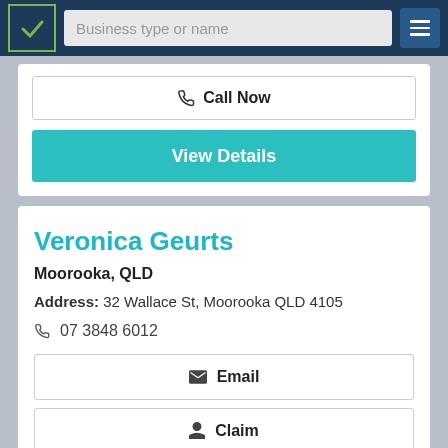Business type or name
Call Now
View Details
Veronica Geurts
Moorooka, QLD
Address: 32 Wallace St, Moorooka QLD 4105
07 3848 6012
Email
Claim
Call Now